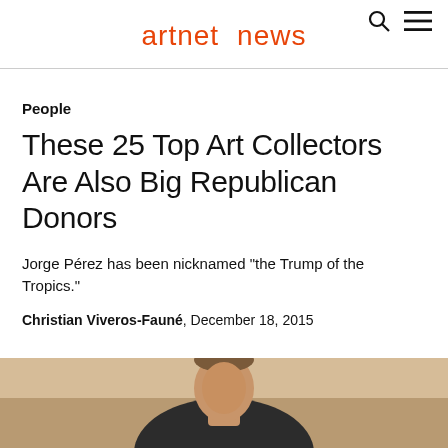artnet news
People
These 25 Top Art Collectors Are Also Big Republican Donors
Jorge Pérez has been nicknamed “the Trump of the Tropics.”
Christian Viveros-Fauné, December 18, 2015
[Figure (photo): Photograph of a man in a dark suit, partially visible, cropped at the bottom of the page]